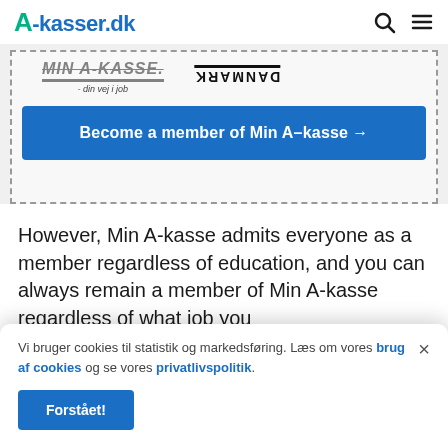A-kasser.dk
[Figure (screenshot): Partial logos: Min A-kasse with tagline 'din vej i job' and flipped DANMARK logo, inside a dashed border box]
Become a member of Min A-kasse →
However, Min A-kasse admits everyone as a member regardless of education, and you can always remain a member of Min A-kasse regardless of what job you
Vi bruger cookies til statistik og markedsføring. Læs om vores brug af cookies og se vores privatlivspolitik.
Forstået!